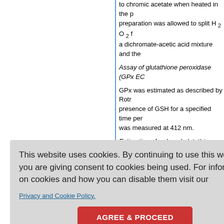to chromic acetate when heated in the pr... preparation was allowed to split H2O2 f... a dichromate-acetic acid mixture and the...
Assay of glutathione peroxidase (GPx EC...
GPx was estimated as described by Rotn... presence of GSH for a specified time per... was measured at 412 nm.
Estimation of reduced glutathione
GSH in brain homogenate was measured colour when 5,5-dithio-bis-2... trobenzoic...
...ollowed by ...ometers. P<0.05 was con dered sig...
Results
...depicts the resul of the rota with the contol group and it s significa mg/kg showed marked improvement ( P...
This website uses cookies. By continuing to use this website you are giving consent to cookies being used. For information on cookies and how you can disable them visit our
Privacy and Cookie Policy.
AGREE & PROCEED